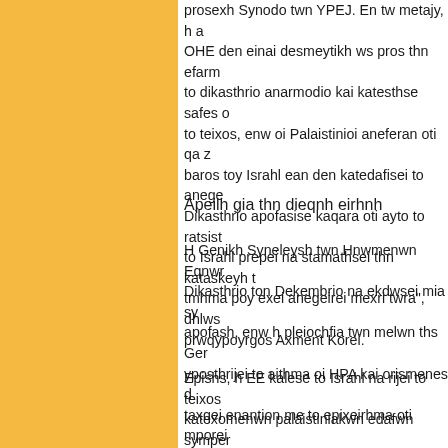prosexh Synodo twn YPEJ. En tw metajy, h a OHE den einai desmeytikh ws pros thn efarm to dikasthrio anarmodio kai katesthse safes o to teixos, enw oi Palaistinioi aneferan oti qa z baros toy Israhl ean den katedafisei to anege Dikasthrio apofasise kaqara oti ayto to ratsist to Israhl prepei na stamathsei thn kataskeyh t tmhma poy exei anegeirei mexri twra", dhlws prwqypoyrgos Axment Korei.
Apeilh gia thn dieqnh eirhnh
H Genikh Syneleysh twn Hnwmenwn Eqnwr Dikasthrio ton Dekembrio na ekdwsei mia sy apofash, enw h pleiochfia twn melwn ths Ger yposthrijei to aithma oi HPA kai orismenes d taxqei enantion me to epixeirhma oti mporei stis eirhneytikes prospaqeies sthn perioxh.
Epishs, h EE kalese to Israhl na rijei to teixos katexomenwn palaistiniakwn edafwn symper Anatolikhs Ieroysalhm.
"To Israhl den prokeitai na efarmosei thn apo teixoys. Qa symmorfwqoyme me tis apofasei